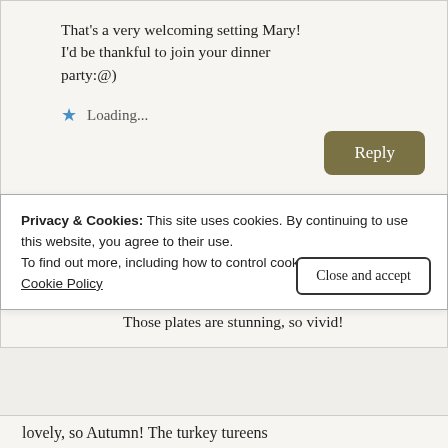That's a very welcoming setting Mary! I'd be thankful to join your dinner party:@)
Loading...
Reply
Cyndi Raines
November 18, 2019 at 9:12 pm
Those plates are stunning, so vivid!
Privacy & Cookies: This site uses cookies. By continuing to use this website, you agree to their use.
To find out more, including how to control cookies, see here:
Cookie Policy
Close and accept
lovely, so Autumn! The turkey tureens